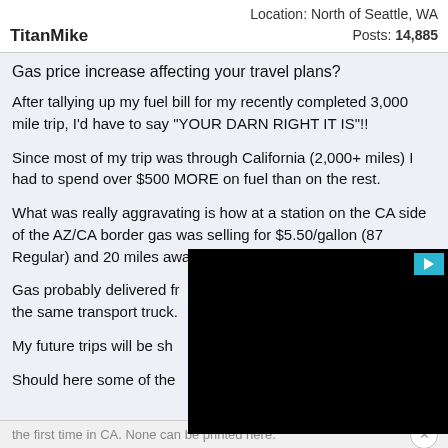TitanMike | Location: North of Seattle, WA | Posts: 14,885
Gas price increase affecting your travel plans?
After tallying up my fuel bill for my recently completed 3,000 mile trip, I'd have to say "YOUR DARN RIGHT IT IS"!!
Since most of my trip was through California (2,000+ miles) I had to spend over $500 MORE on fuel than on the rest.
What was really aggravating is how at a station on the CA side of the AZ/CA border gas was selling for $5.50/gallon (87 Regular) and 20 miles away in AZ it was on[...]
Gas probably delivered fro[...] the same transport truck.
My future trips will be sho[...]
Should here some of the d[...]
[Figure (screenshot): Black video player overlay covering right portion of post]
the first time in CA. None can be printed here.